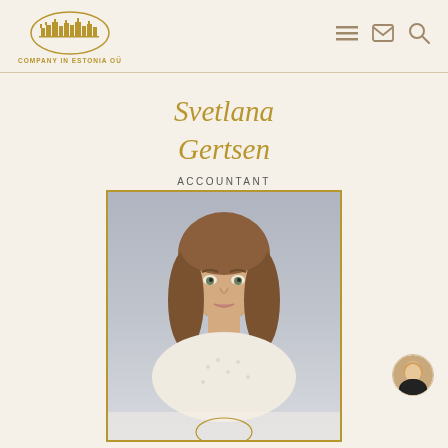[Figure (logo): Company in Estonia OÜ logo with city skyline silhouette inside an oval, gold colored]
COMPANY IN ESTONIA OÜ
Svetlana Gertsen
ACCOUNTANT
[Figure (photo): Professional headshot of Svetlana Gertsen, a woman with medium-length auburn/brown wavy hair, wearing a white patterned blouse, framed with a gold border]
[Figure (photo): Small circular avatar thumbnail in bottom right corner showing a blonde woman]